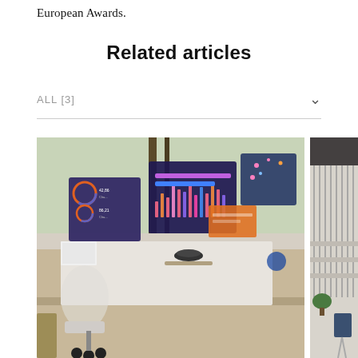European Awards.
Related articles
ALL [3]
[Figure (photo): Office desk with holographic data displays floating above it, showing charts and analytics dashboards. A white office chair with wheels is visible, and the scene is set in a modern office with large windows.]
[Figure (photo): Partial view of a modern interior space with stairs, glass partitions, and a dark chair visible at the right edge.]